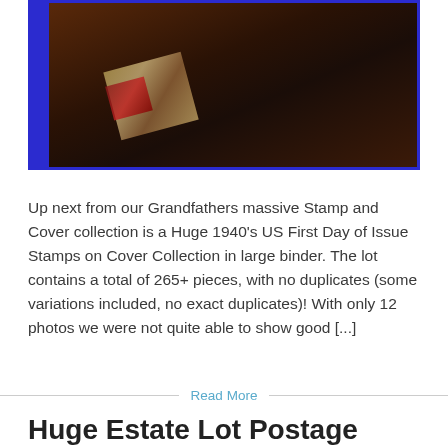[Figure (photo): Dark blurry photograph of a stamp collection binder with blue border, showing stamps partially visible in dim lighting]
Up next from our Grandfathers massive Stamp and Cover collection is a Huge 1940's US First Day of Issue Stamps on Cover Collection in large binder. The lot contains a total of 265+ pieces, with no duplicates (some variations included, no exact duplicates)! With only 12 photos we were not quite able to show good [...]
Read More
Huge Estate Lot Postage Mail Stamp